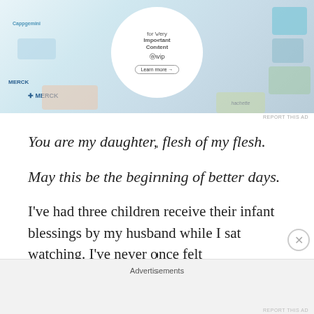[Figure (screenshot): Advertisement banner showing WordPress VIP promotion with Merck and other brand logos visible in background, circular white overlay with 'for Very Important Content' text and WordPress VIP logo with Learn more button]
REPORT THIS AD
You are my daughter, flesh of my flesh.
May this be the beginning of better days.
I've had three children receive their infant blessings by my husband while I sat watching. I've never once felt
Advertisements